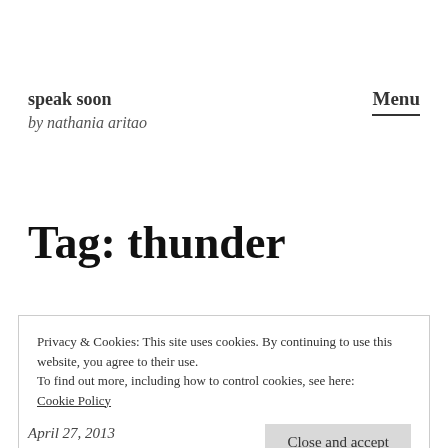speak soon
by nathania aritao
Menu
Tag: thunder
Privacy & Cookies: This site uses cookies. By continuing to use this website, you agree to their use.
To find out more, including how to control cookies, see here:
Cookie Policy
Close and accept
April 27, 2013